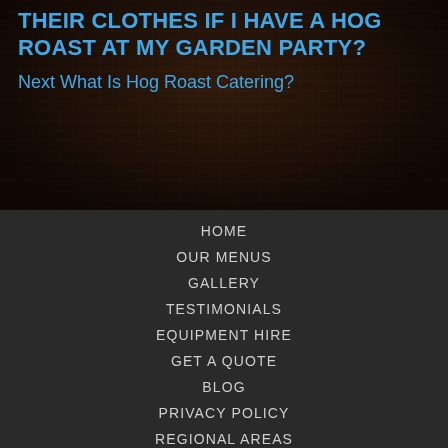THEIR CLOTHES IF I HAVE A HOG ROAST AT MY GARDEN PARTY?
Next What Is Hog Roast Catering?
HOME
OUR MENUS
GALLERY
TESTIMONIALS
EQUIPMENT HIRE
GET A QUOTE
BLOG
PRIVACY POLICY
REGIONAL AREAS
[Figure (illustration): Facebook and Twitter social media icons (white icons on black circular backgrounds)]